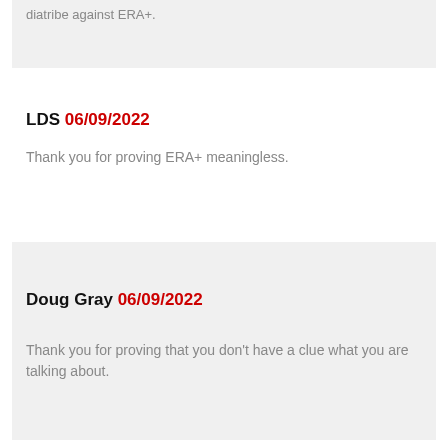diatribe against ERA+.
LDS 06/09/2022
Thank you for proving ERA+ meaningless.
Doug Gray 06/09/2022
Thank you for proving that you don't have a clue what you are talking about.